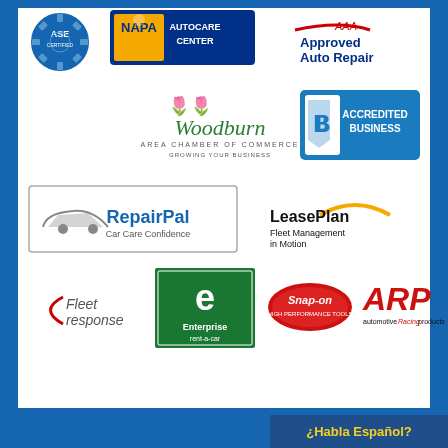[Figure (logo): ASE Certified logo - blue gear badge]
[Figure (logo): NAPA AutoCare Center logo - blue and yellow banner]
[Figure (logo): AAA Approved Auto Repair logo]
[Figure (logo): Woodburn Area Chamber of Commerce logo with purple flower]
[Figure (logo): BBB Accredited Business logo - blue badge]
[Figure (logo): RepairPal Car Care Confidence logo in rectangle border]
[Figure (logo): LeasePlan Fleet Management in Motion logo]
[Figure (logo): Fleet Response logo]
[Figure (logo): Enterprise rent-a-car logo - green]
[Figure (logo): Snap-on High Performance Tools logo - red oval]
[Figure (logo): ARP Automotive Racing Products logo]
¿Habla Español?